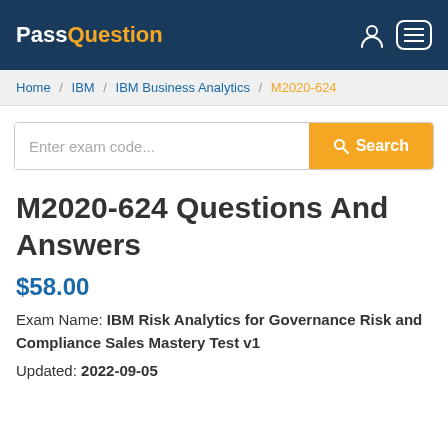PassQuestion
Home / IBM / IBM Business Analytics / M2020-624
Enter exam code... Search
M2020-624 Questions And Answers
$58.00
Exam Name: IBM Risk Analytics for Governance Risk and Compliance Sales Mastery Test v1
Updated: 2022-09-05